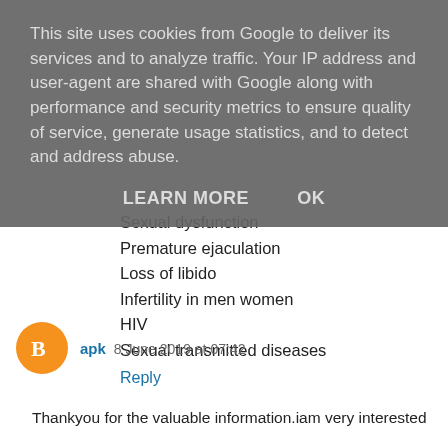This site uses cookies from Google to deliver its services and to analyze traffic. Your IP address and user-agent are shared with Google along with performance and security metrics to ensure quality of service, generate usage statistics, and to detect and address abuse.
LEARN MORE   OK
Sexual dysfunction
Premature ejaculation
Loss of libido
Infertility in men women
HIV
Sexual transmitted diseases
Reply
apk 8 June 2019 at 07:42
Thankyou for the valuable information.iam very interested